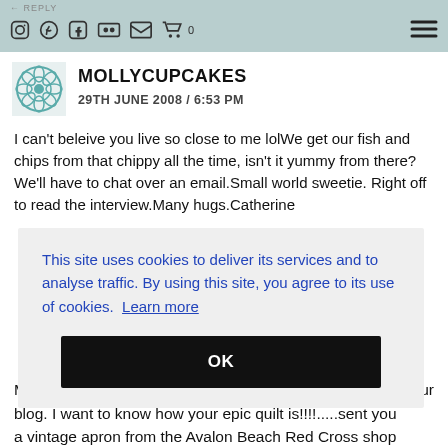← REPLY | [icons: instagram, pinterest, facebook, flickr, email, cart 0] | [hamburger menu]
MOLLYCUPCAKES
29TH JUNE 2008 / 6:53 PM
I can't beleive you live so close to me lolWe get our fish and chips from that chippy all the time, isn't it yummy from there?We'll have to chat over an email.Small world sweetie. Right off to read the interview.Many hugs.Catherine
This site uses cookies to deliver its services and to analyse traffic. By using this site, you agree to its use of cookies. Learn more
OK
...ur blog. I want to know how your epic quilt is!!!!....sent you a vintage apron from the Avalon Beach Red Cross shop